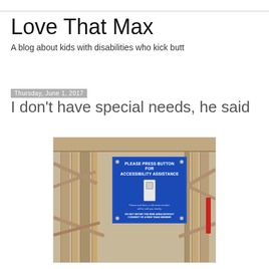Love That Max
A blog about kids with disabilities who kick butt
Thursday, June 1, 2017
I don't have special needs, he said
[Figure (photo): Photo of a blue accessibility sign mounted on wooden railing that reads 'PLEASE PRESS BUTTON FOR ACCESSIBILITY ASSISTANCE' with a white doorbell button, and smaller text below reading 'Please wait here, a ride team member will be with you shortly' and 'DO NOT ENTER THE RIDE AREA WITHOUT CONSENT OF A RIDE TEAM MEMBER']